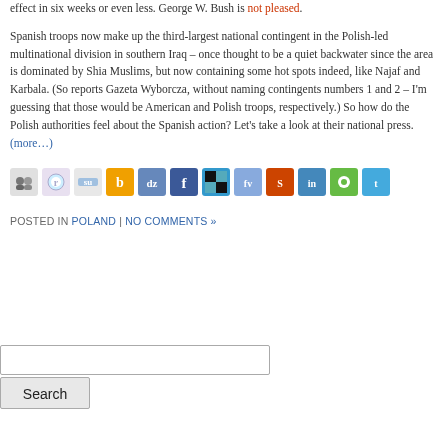effect in six weeks or even less. George W. Bush is not pleased. Spanish troops now make up the third-largest national contingent in the Polish-led multinational division in southern Iraq – once thought to be a quiet backwater since the area is dom... but now containing some hot spots indeed, like Najaf and Karbala. (So repor... Wyborcza, without naming contingents numbers 1 and 2 – I'm guessing that... American and Polish troops, respectively.) So how do the Polish authorities f... Spanish action? Let's take a look at their national press. (more…)
[Figure (infographic): Row of social sharing icons: MySpace, Reddit, StumbleUpon, Blinklist, Digg, Facebook, Delicious, Furl, Squidoo, LinkedIn, Instela, Twitter]
POSTED IN POLAND | NO COMMENTS »
Search input box and Search button